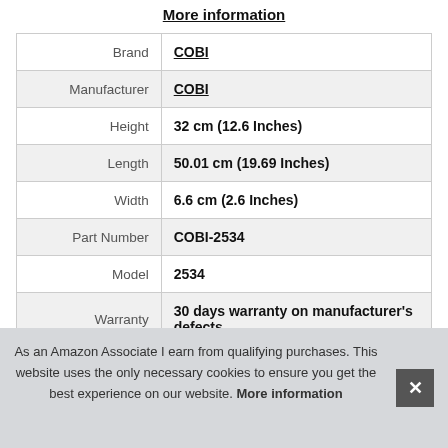More information
| Attribute | Value |
| --- | --- |
| Brand | COBI |
| Manufacturer | COBI |
| Height | 32 cm (12.6 Inches) |
| Length | 50.01 cm (19.69 Inches) |
| Width | 6.6 cm (2.6 Inches) |
| Part Number | COBI-2534 |
| Model | 2534 |
| Warranty | 30 days warranty on manufacturer's defects |
As an Amazon Associate I earn from qualifying purchases. This website uses the only necessary cookies to ensure you get the best experience on our website. More information